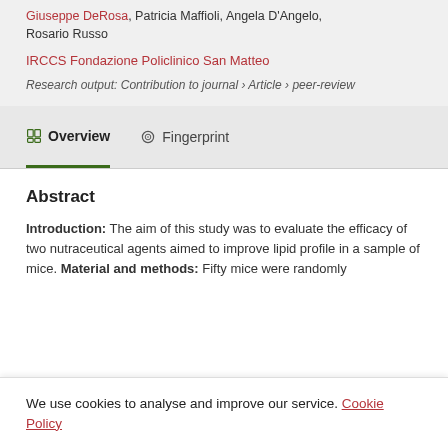Giuseppe DeRosa, Patricia Maffioli, Angela D'Angelo, Rosario Russo
IRCCS Fondazione Policlinico San Matteo
Research output: Contribution to journal › Article › peer-review
Overview
Fingerprint
Abstract
Introduction: The aim of this study was to evaluate the efficacy of two nutraceutical agents aimed to improve lipid profile in a sample of mice. Material and methods: Fifty mice were randomly
We use cookies to analyse and improve our service. Cookie Policy